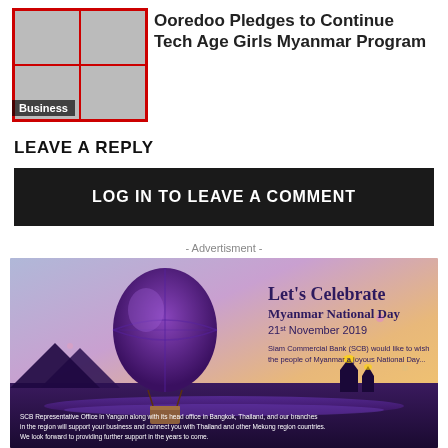[Figure (photo): Grid of 4 photos showing students/girls in tech program with red border, Business badge overlay]
Ooredoo Pledges to Continue Tech Age Girls Myanmar Program
LEAVE A REPLY
LOG IN TO LEAVE A COMMENT
- Advertisment -
[Figure (photo): Advertisement banner: Let's Celebrate Myanmar National Day, 21st November 2019, Siam Commercial Bank (SCB), with hot air balloon and temple silhouette]